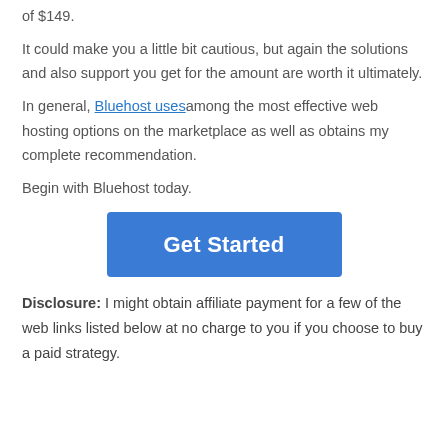of $149.
It could make you a little bit cautious, but again the solutions and also support you get for the amount are worth it ultimately.
In general, Bluehost uses among the most effective web hosting options on the marketplace as well as obtains my complete recommendation.
Begin with Bluehost today.
[Figure (other): Blue 'Get Started' button]
Disclosure: I might obtain affiliate payment for a few of the web links listed below at no charge to you if you choose to buy a paid strategy.